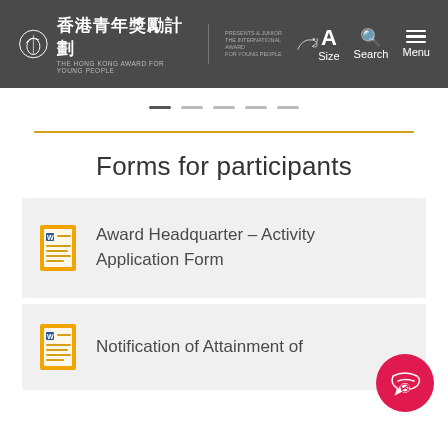香港青年獎勵計劃 THE HONG KONG AWARD FOR YOUNG PEOPLE | THE INTERNATIONAL AWARD FOR YOUNG PEOPLE — Size Search Menu
[Figure (infographic): Slider navigation dots — one active (dark), four inactive (light gray)]
Forms for participants
Award Headquarter – Activity Application Form
Notification of Attainment of